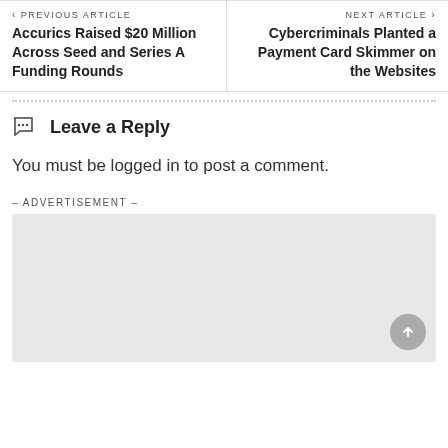< PREVIOUS ARTICLE | NEXT ARTICLE >
Accurics Raised $20 Million Across Seed and Series A Funding Rounds
Cybercriminals Planted a Payment Card Skimmer on the Websites
Leave a Reply
You must be logged in to post a comment.
- ADVERTISEMENT -
[Figure (other): Advertisement placeholder box (light grey rectangle)]